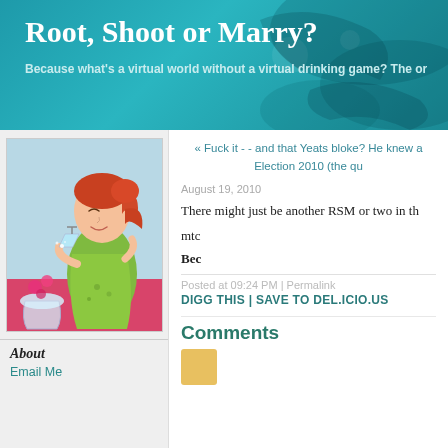Root, Shoot or Marry?
Because what's a virtual world without a virtual drinking game? The or
[Figure (illustration): Illustrated image of a stylized woman with red hair holding a cocktail glass near a pink table with a drink]
About
Email Me
« Fuck it - - and that Yeats bloke? He knew a Election 2010 (the qu
August 19, 2010
There might just be another RSM or two in th
mtc
Bec
Posted at 09:24 PM | Permalink
DIGG THIS | SAVE TO DEL.ICIO.US
Comments